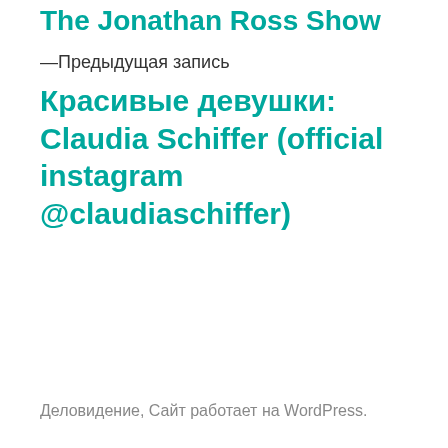The Jonathan Ross Show
—Предыдущая запись
Красивые девушки: Claudia Schiffer (official instagram @claudiaschiffer)
Деловидение, Сайт работает на WordPress.